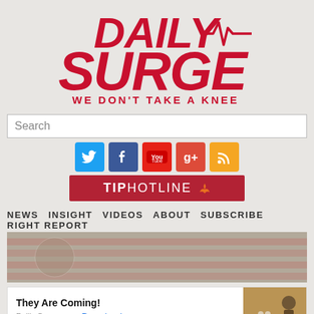[Figure (logo): Daily Surge logo with red italic text 'DAILY SURGE' and tagline 'WE DON'T TAKE A KNEE' with EKG/heartbeat line graphic]
Search
[Figure (infographic): Row of 5 social media icons: Twitter (blue bird), Facebook (blue f), YouTube (red), Google+ (orange), RSS feed (orange)]
[Figure (logo): TIP HOTLINE button in dark red with flame icon]
NEWS  INSIGHT  VIDEOS  ABOUT  SUBSCRIBE  RIGHT REPORT
[Figure (photo): Camp Lejeune Legal Help banner with faded American flag background]
[Figure (screenshot): Ad banner: 'They Are Coming!' by Rollic Games with Download link and game screenshot thumbnail marked Ad]